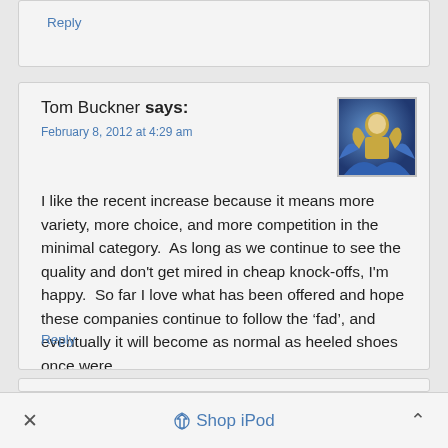Reply
Tom Buckner says:
February 8, 2012 at 4:29 am
[Figure (photo): Avatar image of Tom Buckner showing a stylized character with golden armor against a blue background]
I like the recent increase because it means more variety, more choice, and more competition in the minimal category.  As long as we continue to see the quality and don't get mired in cheap knock-offs, I'm happy.  So far I love what has been offered and hope these companies continue to follow the ‘fad’, and eventually it will become as normal as heeled shoes once were.
Reply
Shop iPod